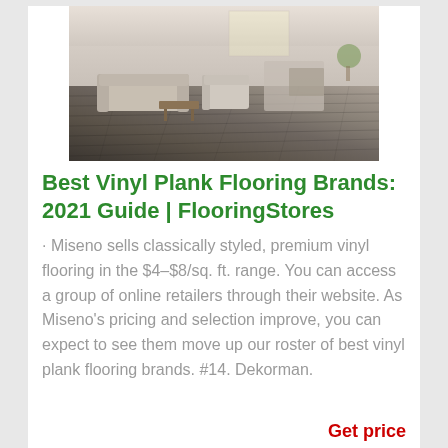[Figure (photo): Interior room photo showing a living room with gray vinyl plank flooring, a sofa, chairs, and a dining area in the background]
Best Vinyl Plank Flooring Brands: 2021 Guide | FlooringStores
· Miseno sells classically styled, premium vinyl flooring in the $4–$8/sq. ft. range. You can access a group of online retailers through their website. As Miseno's pricing and selection improve, you can expect to see them move up our roster of best vinyl plank flooring brands. #14. Dekorman.
Get price